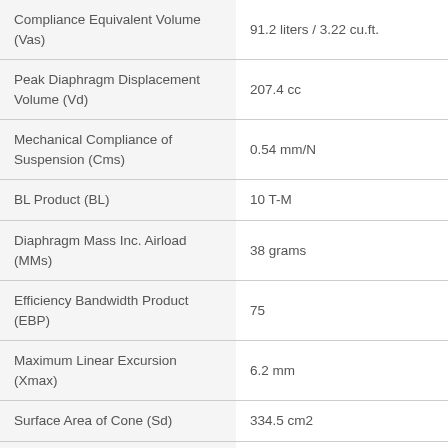| Parameter | Value |
| --- | --- |
| Compliance Equivalent Volume (Vas) | 91.2 liters / 3.22 cu.ft. |
| Peak Diaphragm Displacement Volume (Vd) | 207.4 cc |
| Mechanical Compliance of Suspension (Cms) | 0.54 mm/N |
| BL Product (BL) | 10 T-M |
| Diaphragm Mass Inc. Airload (MMs) | 38 grams |
| Efficiency Bandwidth Product (EBP) | 75 |
| Maximum Linear Excursion (Xmax) | 6.2 mm |
| Surface Area of Cone (Sd) | 334.5 cm2 |
| Maximum Mechanical Limit (Xlim) | 19 mm |